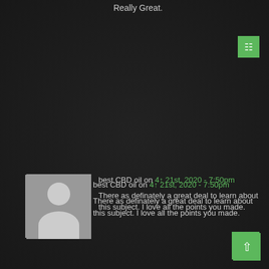Really Great.
best CBD oil on 4↑ 21st, 2020 - 7:50pm
There as definately a great deal to learn about this subject. I love all the points you made.
Bangladesh Face Mask Manufacturer, Supplier, and Factory on 4↑ 22nd, 2020 - 1:16am
Very nice info and straight to the point. I don't know if this is truly the best place to ask but do you people have any ideea where to get some professional writers? Thanks in advance